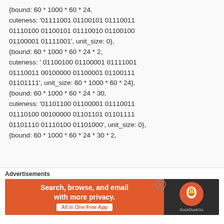{bound: 60 * 1000 * 60 * 24, cuteness: '01111001 01100101 01110011 01110100 01100101 01110010 01100100 01100001 01111001', unit_size: 0}, {bound: 60 * 1000 * 60 * 24 * 2, cuteness: ' 01100100 01100001 01111001 01110011 00100000 01100001 01100111 01101111', unit_size: 60 * 1000 * 60 * 24}, {bound: 60 * 1000 * 60 * 24 * 30, cuteness: '01101100 01100001 01110011 01110100 00100000 01101101 01101111 01101110 01110100 01101000', unit_size: 0}, {bound: 60 * 1000 * 60 * 24 * 30 * 2,
[Figure (infographic): DuckDuckGo advertisement banner: orange background on left with text 'Search, browse, and email with more privacy. All in One Free App' and DuckDuckGo duck logo on dark right panel.]